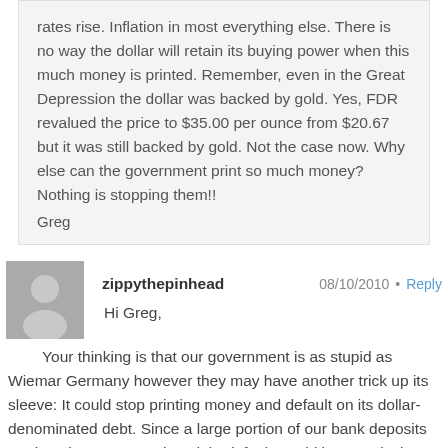rates rise. Inflation in most everything else. There is no way the dollar will retain its buying power when this much money is printed. Remember, even in the Great Depression the dollar was backed by gold. Yes, FDR revalued the price to $35.00 per ounce from $20.67 but it was still backed by gold. Not the case now. Why else can the government print so much money? Nothing is stopping them!!
Greg
zippythepinhead    08/10/2010 • Reply
Hi Greg,

Your thinking is that our government is as stupid as Wiemar Germany however they may have another trick up its sleeve: It could stop printing money and default on its dollar-denominated debt. Since a large portion of our bank deposits are kept in US Treasuries, debt default would be massively deflationary. You'd still have your money in the bank, but you'd